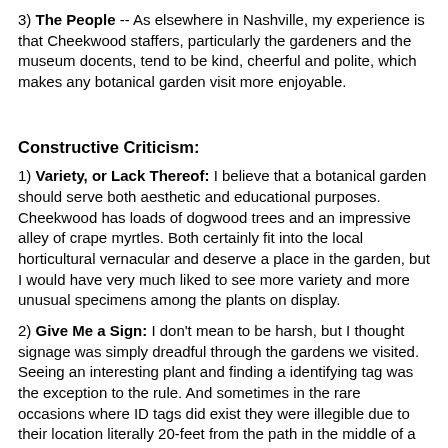3) The People -- As elsewhere in Nashville, my experience is that Cheekwood staffers, particularly the gardeners and the museum docents, tend to be kind, cheerful and polite, which makes any botanical garden visit more enjoyable.
Constructive Criticism:
1) Variety, or Lack Thereof: I believe that a botanical garden should serve both aesthetic and educational purposes. Cheekwood has loads of dogwood trees and an impressive alley of crape myrtles. Both certainly fit into the local horticultural vernacular and deserve a place in the garden, but I would have very much liked to see more variety and more unusual specimens among the plants on display.
2) Give Me a Sign: I don't mean to be harsh, but I thought signage was simply dreadful through the gardens we visited. Seeing an interesting plant and finding a identifying tag was the exception to the rule. And sometimes in the rare occasions where ID tags did exist they were illegible due to their location literally 20-feet from the path in the middle of a